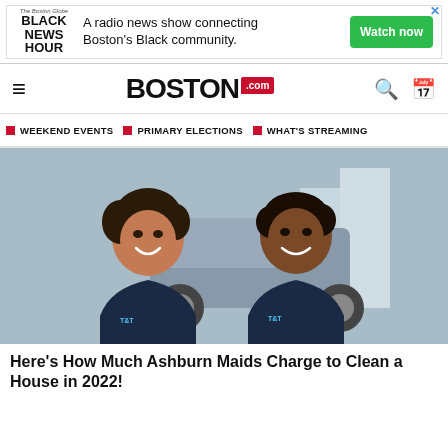[Figure (other): Advertisement banner for Black News Hour: 'A radio news show connecting Boston's Black community.' with a green Watch now button]
BOSTON.com
WEEKEND EVENTS  PRIMARY ELECTIONS  WHAT'S STREAMING
[Figure (photo): Two women in dark navy polo shirts smiling, standing in front of a car outdoors]
Here's How Much Ashburn Maids Charge to Clean a House in 2022!